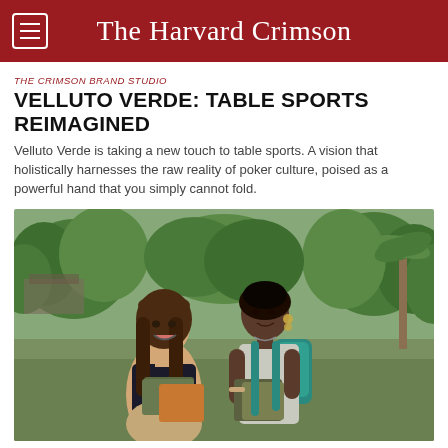The Harvard Crimson
THE CRIMSON BRAND STUDIO
VELLUTO VERDE: TABLE SPORTS REIMAGINED
Velluto Verde is taking a new touch to table sports. A vision that holistically harnesses the raw reality of poker culture, poised as a powerful hand that you simply cannot fold.
[Figure (photo): Two young women — one Asian with long brown hair laughing, one Black woman holding folders and wearing a teal backpack — standing outdoors in a lush green park setting with trees and water in the background.]